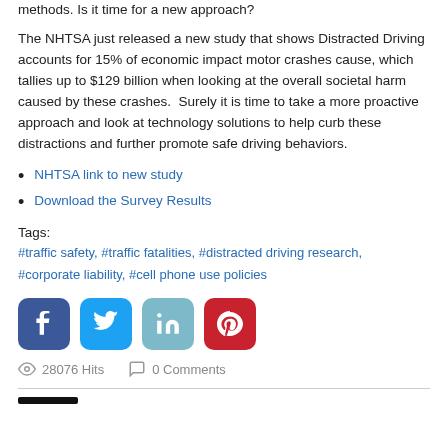methods. Is it time for a new approach?
The NHTSA just released a new study that shows Distracted Driving accounts for 15% of economic impact motor crashes cause, which tallies up to $129 billion when looking at the overall societal harm caused by these crashes. Surely it is time to take a more proactive approach and look at technology solutions to help curb these distractions and further promote safe driving behaviors.
NHTSA link to new study
Download the Survey Results
Tags:
#traffic safety, #traffic fatalities, #distracted driving research, #corporate liability, #cell phone use policies
[Figure (other): Social share buttons: Facebook, Twitter, LinkedIn, Pinterest]
28076 Hits   0 Comments